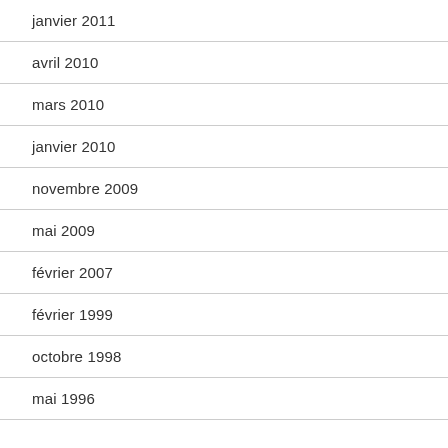janvier 2011
avril 2010
mars 2010
janvier 2010
novembre 2009
mai 2009
février 2007
février 1999
octobre 1998
mai 1996